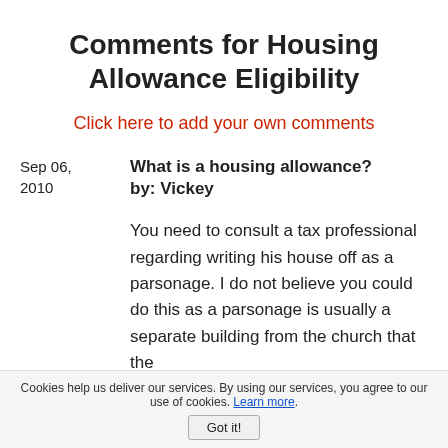Comments for Housing Allowance Eligibility
Click here to add your own comments
Sep 06, 2010
What is a housing allowance?
by: Vickey
You need to consult a tax professional regarding writing his house off as a parsonage. I do not believe you could do this as a parsonage is usually a separate building from the church that the
Cookies help us deliver our services. By using our services, you agree to our use of cookies. Learn more. Got it!